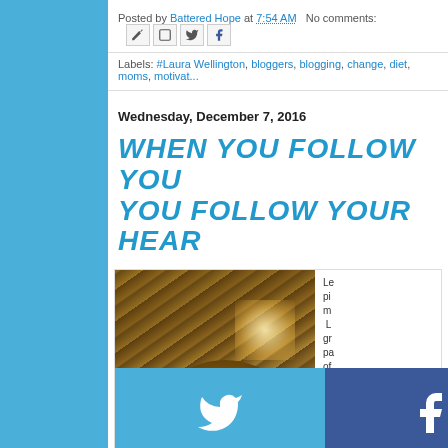Posted by Battered Hope at 7:54 AM   No comments:
Labels: #Laura Wellington, bloggers, blogging, change, diet, moms, motivat...
Wednesday, December 7, 2016
WHEN YOU FOLLOW YOU YOU FOLLOW YOUR HEAR...
[Figure (photo): Close-up photo of a person with reddish-brown hair, taken from below looking up at wooden ceiling beams with bright light visible]
Le... pi... m... L... gr... pa... of... At... ac... re... br... to...
[Figure (infographic): Social media share buttons overlay: Twitter (blue), Facebook (dark blue), Email (gray), WhatsApp (green), SMS (blue), Copy link (green)]